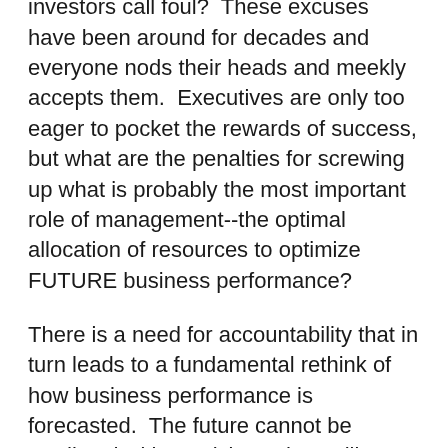talking to you), board members and investors call foul?  These excuses have been around for decades and everyone nods their heads and meekly accepts them.  Executives are only too eager to pocket the rewards of success, but what are the penalties for screwing up what is probably the most important role of management--the optimal allocation of resources to optimize FUTURE business performance?
There is a need for accountability that in turn leads to a fundamental rethink of how business performance is forecasted.  The future cannot be predicted with precision, when will we recongnise this and treat forecasts with the scepticism they deserve?